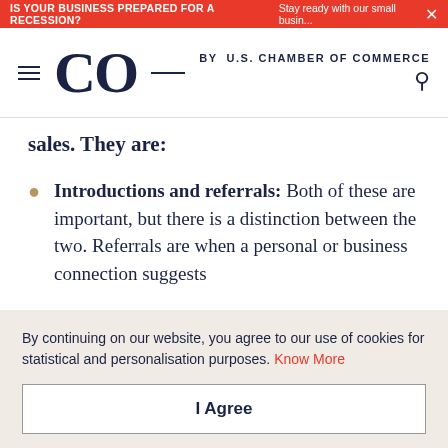IS YOUR BUSINESS PREPARED FOR A RECESSION? Stay ready with our small busin...
CO by U.S. CHAMBER OF COMMERCE
sales. They are:
Introductions and referrals: Both of these are important, but there is a distinction between the two. Referrals are when a personal or business connection suggests
By continuing on our website, you agree to our use of cookies for statistical and personalisation purposes. Know More
I Agree